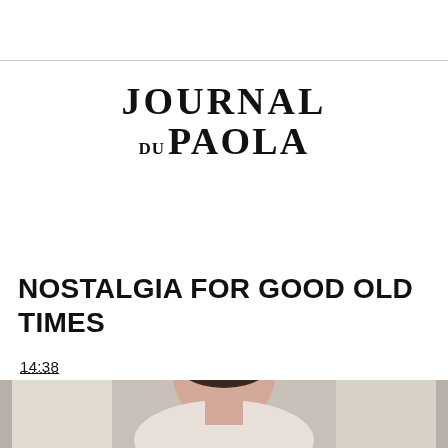[Figure (logo): Journal du Paola logo in serif bold black text, two lines: JOURNAL on top, DU PAOLA below]
NOSTALGIA FOR GOOD OLD TIMES
14:38
[Figure (photo): Partial photo of a person at the bottom of the page, cropped, showing head and shoulders]